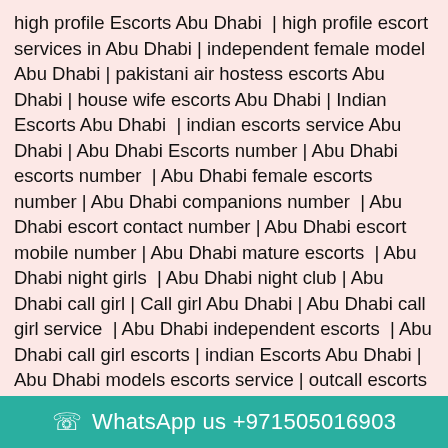high profile Escorts Abu Dhabi | high profile escort services in Abu Dhabi | independent female model Abu Dhabi | pakistani air hostess escorts Abu Dhabi | house wife escorts Abu Dhabi | Indian Escorts Abu Dhabi | indian escorts service Abu Dhabi | Abu Dhabi Escorts number | Abu Dhabi escorts number | Abu Dhabi female escorts number | Abu Dhabi companions number | Abu Dhabi escort contact number | Abu Dhabi escort mobile number | Abu Dhabi mature escorts | Abu Dhabi night girls | Abu Dhabi night club | Abu Dhabi call girl | Call girl Abu Dhabi | Abu Dhabi call girl service | Abu Dhabi independent escorts | Abu Dhabi call girl escorts | indian Escorts Abu Dhabi | Abu Dhabi models escorts service | outcall escorts agency Abu Dhabi | independent models in Abu Dhabi | escorts service in Abu Dhabi | russian escorts in Abu Dhabi | cheap escorts Abu Dhabi | Vip escorts in Abu Dhabi | Prostitute in Abu Dhabi | escort service Abu Dhabi | locanto Abu Dhabi girl | cheap escort in Abu Dhabi | personal escorts Abu Dhabi
WhatsApp us +971505016903